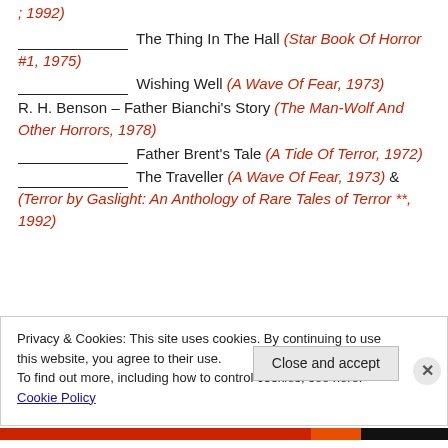, 1992)
_______________ The Thing In The Hall (Star Book Of Horror #1, 1975)
_______________ Wishing Well (A Wave Of Fear, 1973)
R. H. Benson – Father Bianchi's Story (The Man-Wolf And Other Horrors, 1978)
_______________ Father Brent's Tale (A Tide Of Terror, 1972)
_______________ The Traveller (A Wave Of Fear, 1973) & (Terror by Gaslight: An Anthology of Rare Tales of Terror **, 1992)
Privacy & Cookies: This site uses cookies. By continuing to use this website, you agree to their use. To find out more, including how to control cookies, see here: Cookie Policy